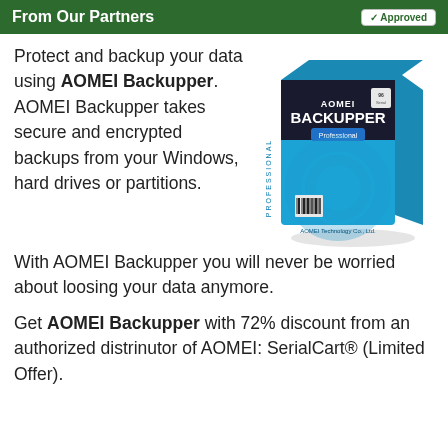From Our Partners | Approved
Protect and backup your data using AOMEI Backupper. AOMEI Backupper takes secure and encrypted backups from your Windows, hard drives or partitions. With AOMEI Backupper you will never be worried about loosing your data anymore.
[Figure (photo): AOMEI Backupper Professional software box — black and cyan blue retail packaging with 'AOMEI BACKUPPER Professional' text and barcode]
Get AOMEI Backupper with 72% discount from an authorized distrinutor of AOMEI: SerialCart® (Limited Offer).